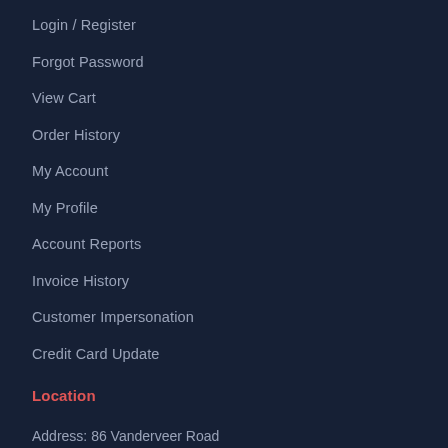Login / Register
Forgot Password
View Cart
Order History
My Account
My Profile
Account Reports
Invoice History
Customer Impersonation
Credit Card Update
Location
Address: 86 Vanderveer Road
Freehold, NJ 07728
Phone: 1 800.922.0724